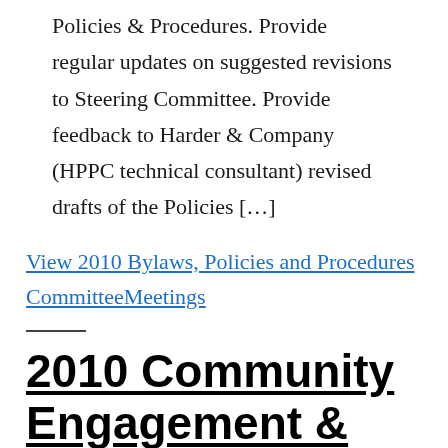Policies & Procedures. Provide regular updates on suggested revisions to Steering Committee. Provide feedback to Harder & Company (HPPC technical consultant) revised drafts of the Policies […]
View 2010 Bylaws, Policies and Procedures CommitteeMeetings
2010 Community Engagement & Education